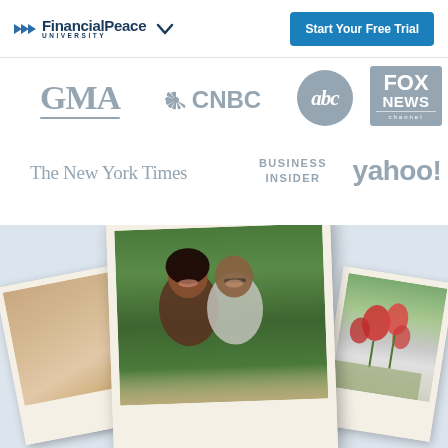FinancialPeace UNIVERSITY | Start Your Free Trial
[Figure (logo): GMA logo in grey]
[Figure (logo): CNBC logo with peacock in grey]
[Figure (logo): ABC circular logo in grey]
[Figure (logo): Fox News channel logo in grey]
[Figure (logo): The New York Times logo in grey serif]
[Figure (logo): Business Insider logo in grey]
[Figure (logo): yahoo! logo in grey]
[Figure (photo): Fanned polaroid-style photos showing a smiling couple and a garden with flowers on a light blue-grey background]